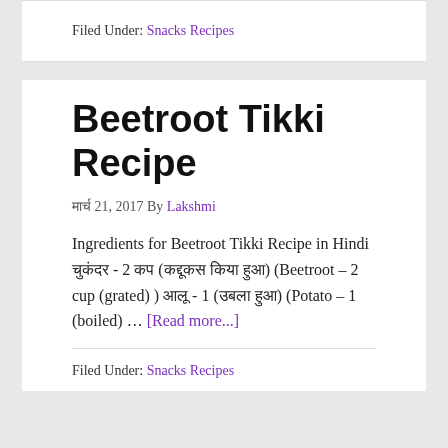Filed Under: Snacks Recipes
Beetroot Tikki Recipe
मार्च 21, 2017 By Lakshmi
Ingredients for Beetroot Tikki Recipe in Hindi चुकंदर - 2 कप (कद्दूकस किया हुआ) (Beetroot – 2 cup (grated) ) आलू - 1 (उबला हुआ) (Potato – 1 (boiled) … [Read more...]
Filed Under: Snacks Recipes